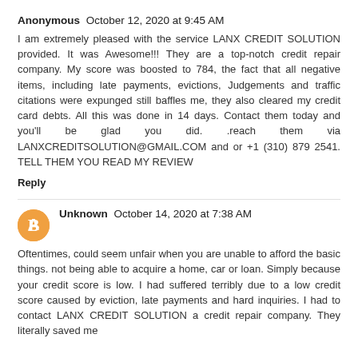Anonymous  October 12, 2020 at 9:45 AM
I am extremely pleased with the service LANX CREDIT SOLUTION provided. It was Awesome!!! They are a top-notch credit repair company. My score was boosted to 784, the fact that all negative items, including late payments, evictions, Judgements and traffic citations were expunged still baffles me, they also cleared my credit card debts. All this was done in 14 days. Contact them today and you'll be glad you did. .reach them via LANXCREDITSOLUTION@GMAIL.COM and or +1 (310) 879 2541. TELL THEM YOU READ MY REVIEW
Reply
Unknown  October 14, 2020 at 7:38 AM
Oftentimes, could seem unfair when you are unable to afford the basic things. not being able to acquire a home, car or loan. Simply because your credit score is low. I had suffered terribly due to a low credit score caused by eviction, late payments and hard inquiries. I had to contact LANX CREDIT SOLUTION a credit repair company. They literally saved me